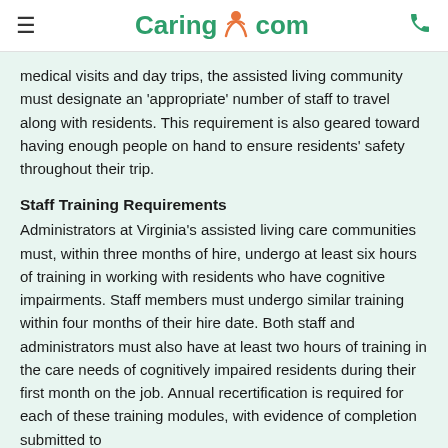Caring.com
medical visits and day trips, the assisted living community must designate an 'appropriate' number of staff to travel along with residents. This requirement is also geared toward having enough people on hand to ensure residents' safety throughout their trip.
Staff Training Requirements
Administrators at Virginia's assisted living care communities must, within three months of hire, undergo at least six hours of training in working with residents who have cognitive impairments. Staff members must undergo similar training within four months of their hire date. Both staff and administrators must also have at least two hours of training in the care needs of cognitively impaired residents during their first month on the job. Annual recertification is required for each of these training modules, with evidence of completion submitted to